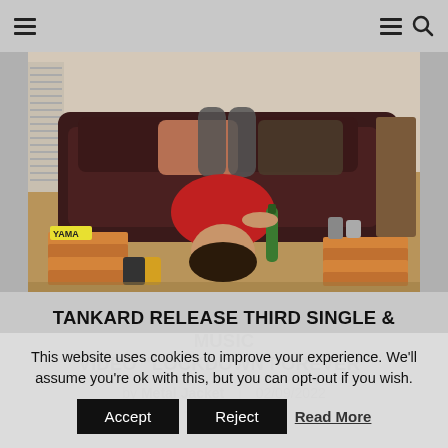☰  ☰ 🔍
[Figure (photo): Person lying upside-down on the floor in front of a dark leather sofa, wearing a red t-shirt, holding a green bottle, surrounded by pizza boxes and beer cans]
TANKARD RELEASE THIRD SINGLE & MUSIC VIDEO "LOCKDOWN FOREVER"
by Metal Jacket | 02/09/2022
This website uses cookies to improve your experience. We'll assume you're ok with this, but you can opt-out if you wish.